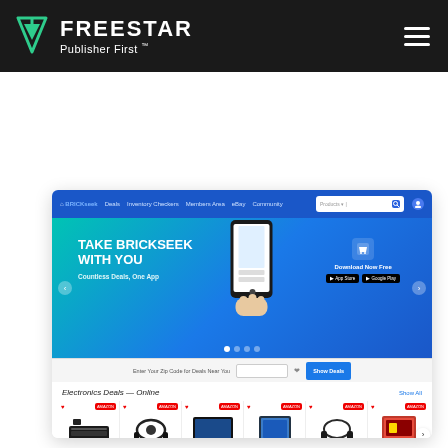[Figure (logo): Freestar logo with green triangle arrow icon, white text 'FREESTAR' and tagline 'Publisher First™' on dark background header bar with hamburger menu icon on right]
[Figure (screenshot): Screenshot of BrickSeek website showing navigation bar, hero banner 'TAKE BRICKSEEK WITH YOU - Countless Deals, One App - Download Now Free' with phone image, zip code entry bar, and Electronics Deals Online product grid with 6 electronic products]